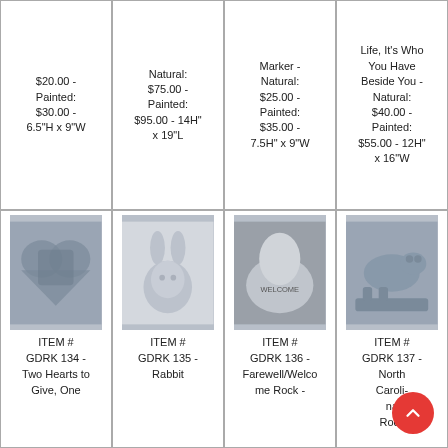$20.00 - Painted: $30.00 - 6.5"H x 9"W
Natural: $75.00 - Painted: $95.00 - 14H" x 19"L
Marker - Natural: $25.00 - Painted: $35.00 - 7.5H" x 9"W
Life, It's Who You Have Beside You - Natural: $40.00 - Painted: $55.00 - 12H" x 16"W
[Figure (photo): Stone heart-shaped garden decoration]
ITEM # GDRK 134 - Two Hearts to Give, One
[Figure (photo): White rabbit garden statue]
ITEM # GDRK 135 - Rabbit
[Figure (photo): Welcome rock garden stone]
ITEM # GDRK 136 - Farewell/Welcome Rock -
[Figure (photo): North Carolina rock garden decoration with bear/animal]
ITEM # GDRK 137 - North Carolina Rock